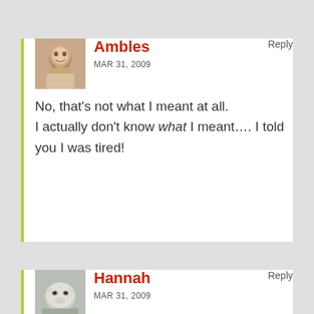Ambles — MAR 31, 2009 — Reply
No, that's not what I meant at all.
I actually don't know what I meant.... I told you I was tired!
Hannah — MAR 31, 2009 — Reply
Like I said, I'm of no use to you in the boy name dept.
The only outlandish name I